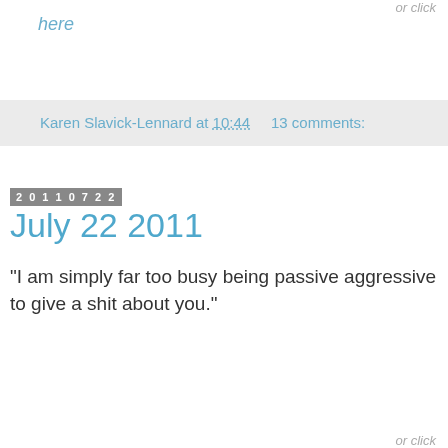or click
here
Karen Slavick-Lennard at 10:44     13 comments:
20110722
July 22 2011
"I am simply far too busy being passive aggressive to give a shit about you."
or click